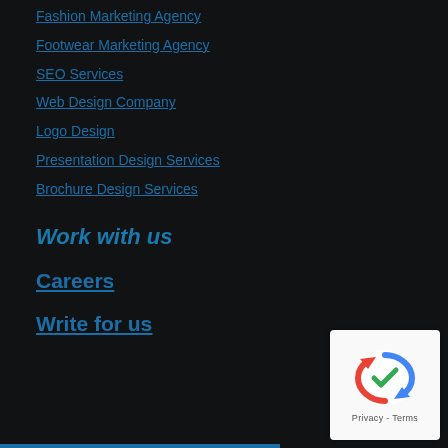Fashion Marketing Agency
Footwear Marketing Agency
SEO Services
Web Design Company
Logo Design
Presentation Design Services
Brochure Design Services
Work with us
Careers
Write for us
[Figure (logo): reCAPTCHA badge with Google logo, showing a stylized arrow/recycle icon in blue and red, with 'Privacy - Terms' text below]